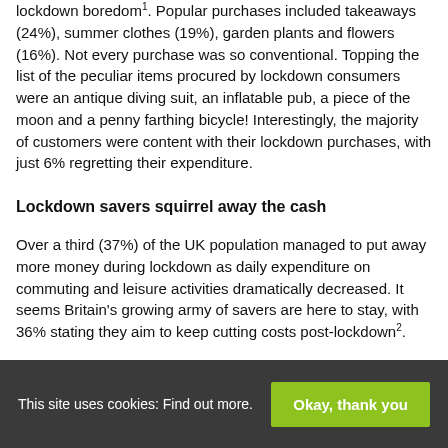lockdown boredom¹. Popular purchases included takeaways (24%), summer clothes (19%), garden plants and flowers (16%). Not every purchase was so conventional. Topping the list of the peculiar items procured by lockdown consumers were an antique diving suit, an inflatable pub, a piece of the moon and a penny farthing bicycle! Interestingly, the majority of customers were content with their lockdown purchases, with just 6% regretting their expenditure.
Lockdown savers squirrel away the cash
Over a third (37%) of the UK population managed to put away more money during lockdown as daily expenditure on commuting and leisure activities dramatically decreased. It seems Britain's growing army of savers are here to stay, with 36% stating they aim to keep cutting costs post-lockdown².
This site uses cookies: Find out more. Okay, thank you